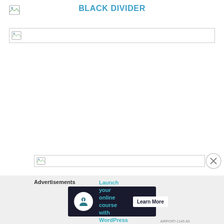BLACK DIVIDER
[Figure (illustration): Broken image placeholder for a divider element with horizontal border]
[Figure (illustration): Partial broken image placeholder near bottom of content area]
Advertisements
[Figure (infographic): Dark advertisement banner: Launch your online course with WordPress — Learn More button, with white circular icon]